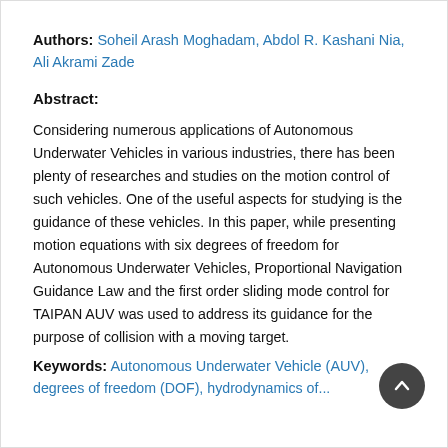Authors: Soheil Arash Moghadam, Abdol R. Kashani Nia, Ali Akrami Zade
Abstract:
Considering numerous applications of Autonomous Underwater Vehicles in various industries, there has been plenty of researches and studies on the motion control of such vehicles. One of the useful aspects for studying is the guidance of these vehicles. In this paper, while presenting motion equations with six degrees of freedom for Autonomous Underwater Vehicles, Proportional Navigation Guidance Law and the first order sliding mode control for TAIPAN AUV was used to address its guidance for the purpose of collision with a moving target.
Keywords: Autonomous Underwater Vehicle (AUV), degrees of freedom (DOF), hadrodynamics of...